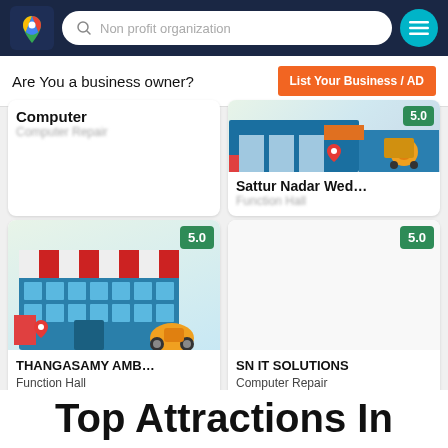[Figure (screenshot): Google Maps style navigation bar with logo, search field showing 'Non profit organization', and teal menu button]
Are You a business owner?
List Your Business / AD
[Figure (illustration): Business listing card top row: left card showing 'Computer / Computer Repair', right card showing 'Sattur Nadar Wed... / Function Hall' with partial storefront illustration and rating 5.0]
[Figure (illustration): Business listing card: THANGASAMY AMB... / Function Hall with storefront illustration and 5.0 rating badge]
[Figure (illustration): Business listing card: SN IT SOLUTIONS / Computer Repair with 5.0 rating badge]
Top Attractions In